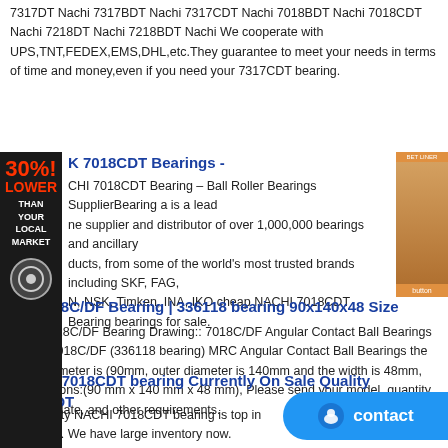7317DT Nachi 7317BDT Nachi 7317CDT Nachi 7018BDT Nachi 7018CDT Nachi 7218DT Nachi 7218BDT Nachi We cooperate with UPS,TNT,FEDEX,EMS,DHL,etc.They guarantee to meet your needs in terms of time and money,even if you need your 7317CDT bearing.
K 7018CDT Bearings -
CHI 7018CDT Bearing – Ball Roller Bearings SupplierBearing a is a leading supplier and distributor of over 1,000,000 bearings and ancillary products, from some of the world's most trusted brands including SKF, FAG, N, NSK, Timken, INA, IKO cheap NACHI 7018CDT Bearing bearings for sale.
RC 7018C/DF Bearing | 336118 bearing 90x140x48 Size
MRC 7018C/DF Bearing Drawing:: 7018C/DF Angular Contact Ball Bearings MRC□ 7018C/DF (336118 bearing) MRC Angular Contact Ball Bearings the inner diameter is (90mm, outer diameter is 140mm and the width is 48mm, Demensions:(90 mm x 140 mm x 48 mm), Please send your model, quantity, delivery date, and other requirements.
NACHI 7018CDT bearing Currently On Sale Quality 7018CDT
Our quality NACHI 7018CDT bearing is top in the world. We have large inventory now. Delivery time: 5-7days. we provide reply w... mainly supply FAG , NSK , TIMKEN , INA , NTN , KOYO , N... Bearing products. If there is a demand, you can contact us.
[Figure (illustration): Left side advertisement banner: black background with red text '30%! LOWER THAN YOUR LOCAL MARKET' and a circular logo at bottom]
[Figure (photo): Right side advertisement image showing a person's face on orange/brown background with a button]
[Figure (illustration): Blue contact button at bottom right with chat icon and text 'contact']